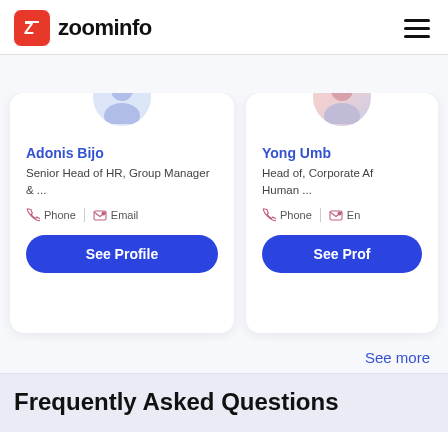zoominfo
[Figure (screenshot): Two profile cards for Adonis Bijo (Senior Head of HR, Group Manager & ...) and Yong Umb (Head of, Corporate Af Human ...) with Phone and Email contact options and See Profile buttons]
See more
Frequently Asked Questions